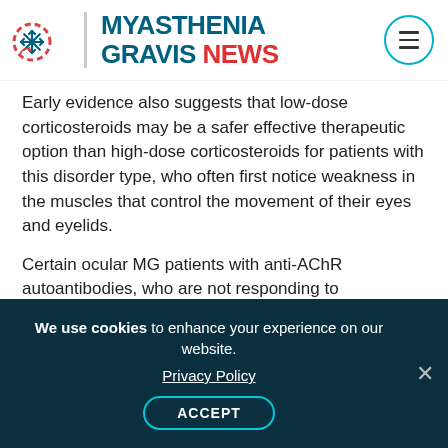MYASTHENIA GRAVIS NEWS
Early evidence also suggests that low-dose corticosteroids may be a safer effective therapeutic option than high-dose corticosteroids for patients with this disorder type, who often first notice weakness in the muscles that control the movement of their eyes and eyelids.
Certain ocular MG patients with anti-AChR autoantibodies, who are not responding to recommended treatment, also may be offered thymectomy, per the guidelines.
Immune checkpoint inhibitors (ICIs)
We use cookies to enhance your experience on our website. Privacy Policy ACCEPT